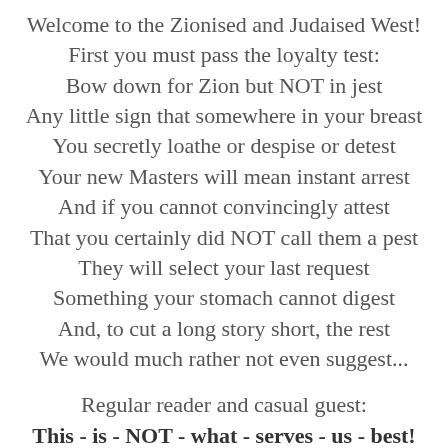Welcome to the Zionised and Judaised West!
First you must pass the loyalty test:
Bow down for Zion but NOT in jest
Any little sign that somewhere in your breast
You secretly loathe or despise or detest
Your new Masters will mean instant arrest
And if you cannot convincingly attest
That you certainly did NOT call them a pest
They will select your last request
Something your stomach cannot digest
And, to cut a long story short, the rest
We would much rather not even suggest...

Regular reader and casual guest:
This - is - NOT - what - serves - us - best!

And that surely is, though it was not meant